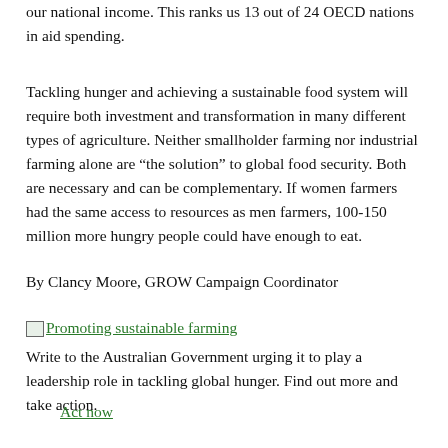our national income. This ranks us 13 out of 24 OECD nations in aid spending.
Tackling hunger and achieving a sustainable food system will require both investment and transformation in many different types of agriculture. Neither smallholder farming nor industrial farming alone are “the solution” to global food security. Both are necessary and can be complementary. If women farmers had the same access to resources as men farmers, 100-150 million more hungry people could have enough to eat.
By Clancy Moore, GROW Campaign Coordinator
[Figure (illustration): Small image placeholder icon followed by hyperlink text: Promoting sustainable farming]
Write to the Australian Government urging it to play a leadership role in tackling global hunger. Find out more and take action.
Act now